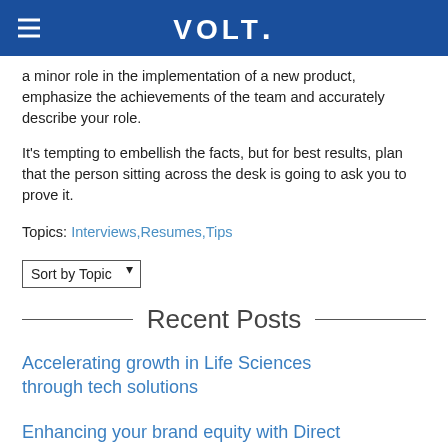VOLT.
a minor role in the implementation of a new product, emphasize the achievements of the team and accurately describe your role.
It's tempting to embellish the facts, but for best results, plan that the person sitting across the desk is going to ask you to prove it.
Topics: Interviews,Resumes,Tips
Sort by Topic
Recent Posts
Accelerating growth in Life Sciences through tech solutions
Enhancing your brand equity with Direct sourcing
How to build a successful team